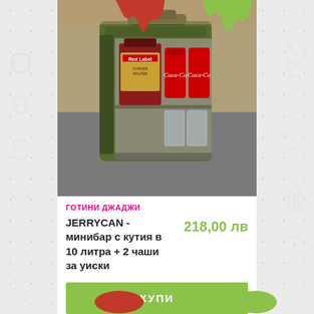[Figure (photo): A military-style green jerrycan converted into a minibar, open to reveal a bottle of Johnnie Walker Red Label whisky and two Coca-Cola cans, with two glass tumblers, placed on a metal grate surface]
ГОТИНИ ДЖАДЖИ
JERRYCAN - минибар с кутия в 10 литра + 2 чаши за уиски
218,00 лв
КУПИ